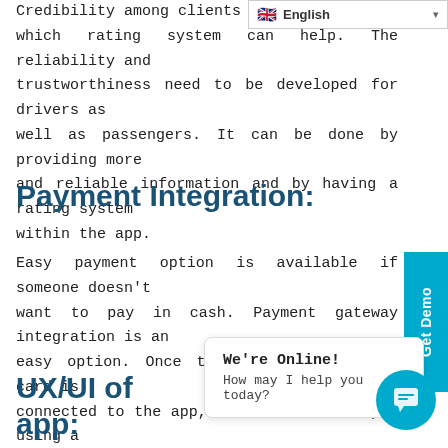English
Credibility among clients is essential, which rating system can help. The reliability and trustworthiness need to be developed for drivers as well as passengers. It can be done by providing more and reliable information and by having a rating system within the app.
Payment Integration:
Easy payment option is available if someone doesn't want to pay in cash. Payment gateway integration is an easy option. Once the customer's credit card is connected to the app, the customer can pay using a few clicks. But the customers who want to pay in cash also has this option.
UX/UI of the app: